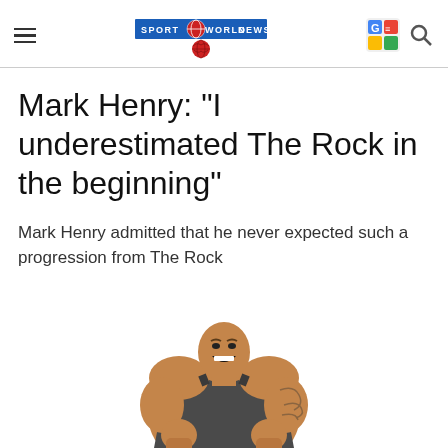SPORT WORLD NEWS
Mark Henry: "I underestimated The Rock in the beginning"
Mark Henry admitted that he never expected such a progression from The Rock
[Figure (photo): A muscular man wearing a dark tank top, mouth open in a shout, with tattoos on his right arm, fists clenched in front of him against a white background.]